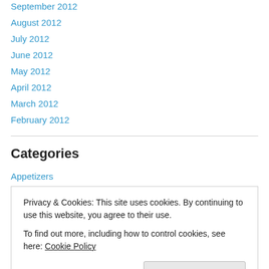September 2012
August 2012
July 2012
June 2012
May 2012
April 2012
March 2012
February 2012
Categories
Appetizers
Breakfast
Privacy & Cookies: This site uses cookies. By continuing to use this website, you agree to their use.
To find out more, including how to control cookies, see here: Cookie Policy
Random